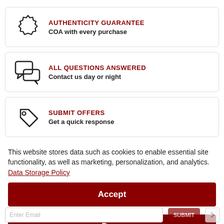[Figure (infographic): Card with seal/badge icon, title AUTHENTICITY GUARANTEE in dark red, subtitle COA with every purchase]
[Figure (infographic): Card with speech bubbles icon, title ALL QUESTIONS ANSWERED in dark red, subtitle Contact us day or night]
[Figure (infographic): Card with price tag icon, title SUBMIT OFFERS in dark red, subtitle Get a quick response]
This website stores data such as cookies to enable essential site functionality, as well as marketing, personalization, and analytics. Data Storage Policy
Accept
Deny